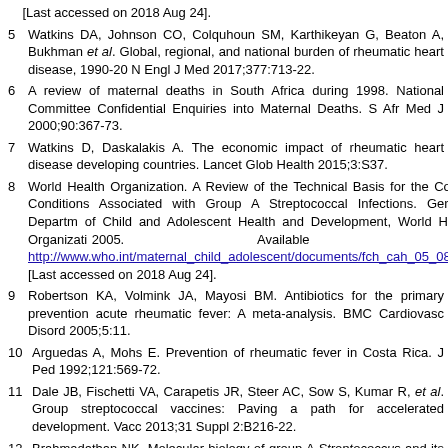[Last accessed on 2018 Aug 24].
5 Watkins DA, Johnson CO, Colquhoun SM, Karthikeyan G, Beaton A, Bukhman et al. Global, regional, and national burden of rheumatic heart disease, 1990-20 N Engl J Med 2017;377:713-22.
6 A review of maternal deaths in South Africa during 1998. National Committee Confidential Enquiries into Maternal Deaths. S Afr Med J 2000;90:367-73.
7 Watkins D, Daskalakis A. The economic impact of rheumatic heart disease developing countries. Lancet Glob Health 2015;3:S37.
8 World Health Organization. A Review of the Technical Basis for the Control Conditions Associated with Group A Streptococcal Infections. Geneva: Departm of Child and Adolescent Health and Development, World Health Organizati 2005. Available fro http://www.who.int/maternal_child_adolescent/documents/fch_cah_05_08/en/. [Last accessed on 2018 Aug 24].
9 Robertson KA, Volmink JA, Mayosi BM. Antibiotics for the primary prevention acute rheumatic fever: A meta-analysis. BMC Cardiovasc Disord 2005;5:11.
10 Arguedas A, Mohs E. Prevention of rheumatic fever in Costa Rica. J Ped 1992;121:569-72.
11 Dale JB, Fischetti VA, Carapetis JR, Steer AC, Sow S, Kumar R, et al. Group streptococcal vaccines: Paving a path for accelerated development. Vacc 2013;31 Suppl 2:B216-22.
12 Brahmadathan NK. Molecular biology of group A Streptococcus and its implicatio in vaccine strategies. Indian J Med Microbiol 2017;35:176-83.
13 Kumar R, Sharma YP, Thakur JS, Patro BK, Bhatia A, Singh IP, et al. Streptococ pharyngitis, rheumatic fever and rheumatic heart disease: Eight-year prospect surveillance in Rupnagar district of Punjab, India. Natl Med J India 2014;27:70-5.
14 Rashtriya Bal Swasthya Karyakram. Ministry of Health and Family Welfa